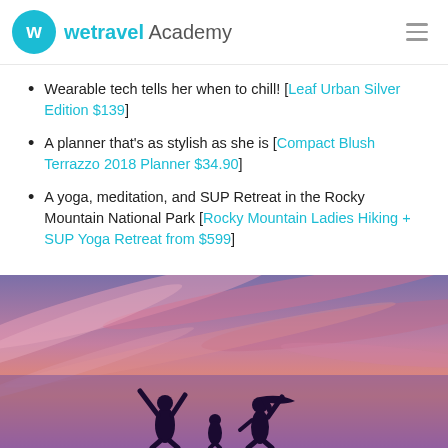wetravel Academy
Wearable tech tells her when to chill! [Leaf Urban Silver Edition $139]
A planner that's as stylish as she is [Compact Blush Terrazzo 2018 Planner $34.90]
A yoga, meditation, and SUP Retreat in the Rocky Mountain National Park [Rocky Mountain Ladies Hiking + SUP Yoga Retreat from $599]
[Figure (photo): Silhouettes of two people with arms raised against a dramatic pink and purple sunset sky]